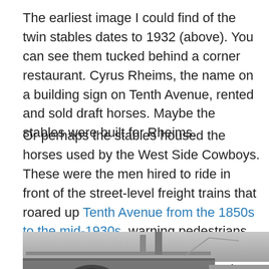The earliest image I could find of the twin stables dates to 1932 (above). You can see them tucked behind a corner restaurant. Cyrus Rheims, the name on a building sign on Tenth Avenue, rented and sold draft horses. Maybe the stables were built for Rheims.
Or perhaps the stables housed the horses used by the West Side Cowboys. These were the men hired to ride in front of the street-level freight trains that roared up Tenth Avenue from the 1850s to the mid-1930s, warning pedestrians out of the way (not always successfully; hundreds were killed over the years).
[Figure (photo): Black and white photograph of a brick building facade showing arched windows and ornate cornice details, likely the twin stables referenced in the text.]